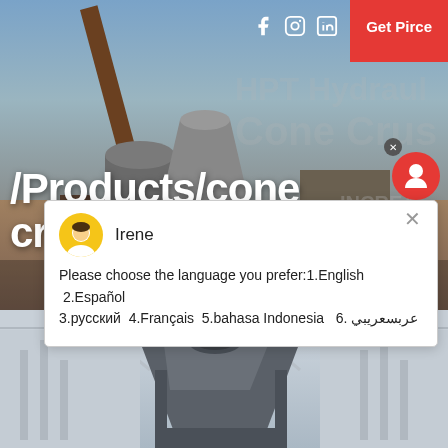[Figure (photo): Industrial cone crusher machinery at a mining/quarrying site, with orange crane arm and machinery in background. Text overlay shows HPT Hydraulic Cone Crus... in large grey letters on the right.]
/Products/cone crushers copper
Irene
Please choose the language you prefer:1.English  2.Español  3.русский  4.Français  5.bahasa Indonesia   6. عربسعريبي
[Figure (photo): Industrial machinery (cone crusher) photographed from below/inside a factory building, showing metal frame structure against light ceiling.]